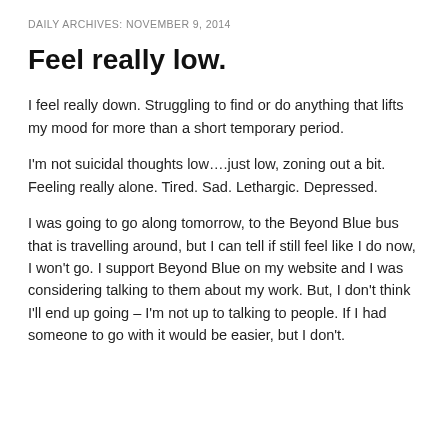DAILY ARCHIVES: NOVEMBER 9, 2014
Feel really low.
I feel really down. Struggling to find or do anything that lifts my mood for more than a short temporary period.
I'm not suicidal thoughts low….just low, zoning out a bit. Feeling really alone. Tired. Sad. Lethargic. Depressed.
I was going to go along tomorrow, to the Beyond Blue bus that is travelling around, but I can tell if still feel like I do now, I won't go. I support Beyond Blue on my website and I was considering talking to them about my work. But, I don't think I'll end up going – I'm not up to talking to people. If I had someone to go with it would be easier, but I don't.